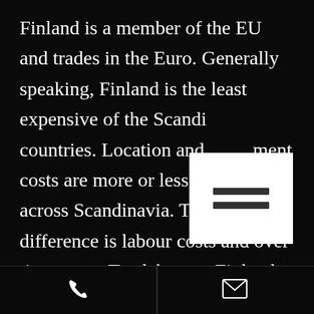Finland is a member of the EU and trades in the Euro. Generally speaking, Finland is the least expensive of the Scandinavian countries. Location and equipment costs are more or less the same across Scandinavia. The main difference is labour costs and over time costs. To elaborate, Finland crews work a ten-hour day and have lower fees. In Sweden crews work an eight-hour day and fees are 15% higher. Denmark crews work an eight-hour day and fees are 20%
[Figure (other): White card overlay partially covering text, containing two horizontal dark bars (hamburger/menu icon style)]
Phone icon | Email icon